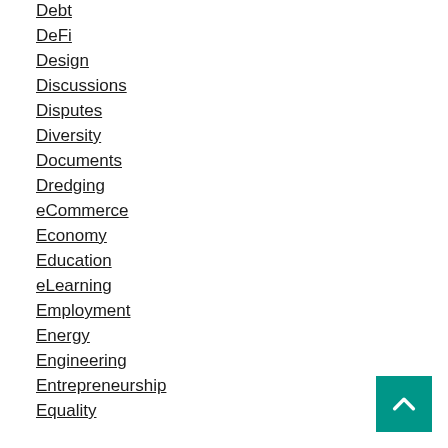Debt
DeFi
Design
Discussions
Disputes
Diversity
Documents
Dredging
eCommerce
Economy
Education
eLearning
Employment
Energy
Engineering
Entrepreneurship
Equality